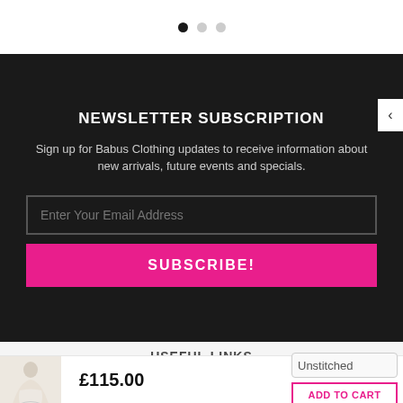[Figure (other): Carousel dot navigation: one filled black dot and two grey dots indicating slide position]
NEWSLETTER SUBSCRIPTION
Sign up for Babus Clothing updates to receive information about new arrivals, future events and specials.
Enter Your Email Address
SUBSCRIBE!
USEFUL LINKS
[Figure (photo): Product thumbnail: woman in white layered lehenga/dress]
£115.00
Unstitched
ADD TO CART